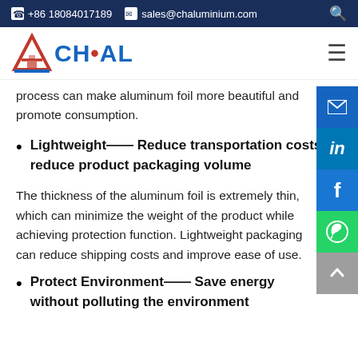+86 18084017189  sales@chaluminium.com
[Figure (logo): ACHAL company logo with red triangle A and blue CH·AL text]
process can make aluminum foil more beautiful and promote consumption.
Lightweight—— Reduce transportation costs reduce product packaging volume
The thickness of the aluminum foil is extremely thin, which can minimize the weight of the product while achieving protection function. Lightweight packaging can reduce shipping costs and improve ease of use.
Protect Environment—— Save energy without polluting the environment